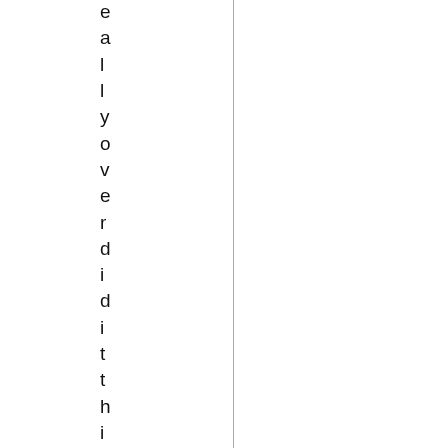e a l l y o v e r d i d i t t h i s t i m e a t t